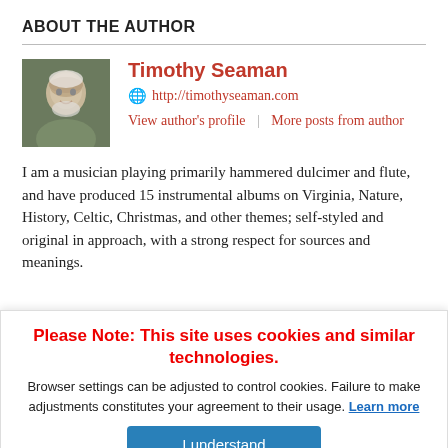ABOUT THE AUTHOR
[Figure (photo): Headshot photo of Timothy Seaman, an older man with white hair and beard, smiling, wearing a green shirt]
Timothy Seaman
http://timothyseaman.com
View author's profile | More posts from author
I am a musician playing primarily hammered dulcimer and flute, and have produced 15 instrumental albums on Virginia, Nature, History, Celtic, Christmas, and other themes; self-styled and original in approach, with a strong respect for sources and meanings.
Recent posts
Please Note: This site uses cookies and similar technologies.
Browser settings can be adjusted to control cookies. Failure to make adjustments constitutes your agreement to their usage. Learn more
I understand
Music history?
Renaissance Patter...
Both Fighting: Our Scots-Irish heritage, Change, 2016 election...